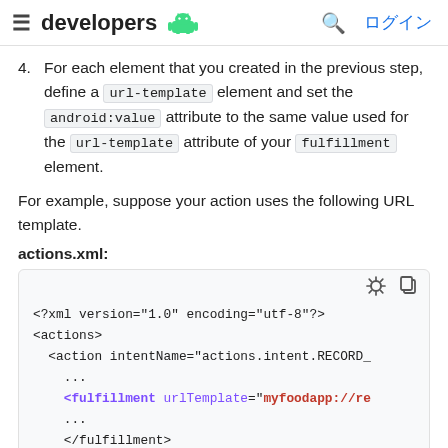≡ developers 🤖   🔍 ログイン
4. For each element that you created in the previous step, define a url-template element and set the android:value attribute to the same value used for the url-template attribute of your fulfillment element.
For example, suppose your action uses the following URL template.
actions.xml:
[Figure (screenshot): Code block showing XML snippet: <?xml version="1.0" encoding="utf-8"?> <actions> <action intentName="actions.intent.RECORD_... ... <fulfillment urlTemplate="myfoodapp://re ... </fulfillment>]